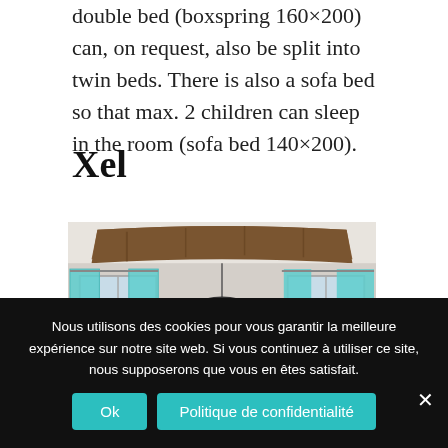double bed (boxspring 160×200) can, on request, also be split into twin beds. There is also a sofa bed so that max. 2 children can sleep in the room (sofa bed 140×200).
Xel
[Figure (photo): Interior photo of a room with wooden ceiling beam, teal/turquoise curtains on windows, a pendant industrial-style lamp, and a framed artwork on the wall between two windows.]
Nous utilisons des cookies pour vous garantir la meilleure expérience sur notre site web. Si vous continuez à utiliser ce site, nous supposerons que vous en êtes satisfait.